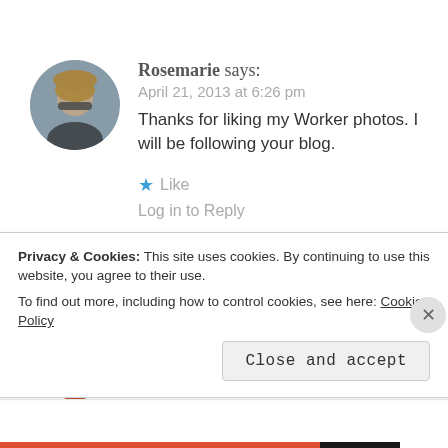[Figure (photo): Circular avatar photo of Rosemarie, a woman with short hair and sunglasses outdoors near water]
Rosemarie says:
April 21, 2013 at 6:26 pm
Thanks for liking my Worker photos. I will be following your blog.
★ Like
Log in to Reply
[Figure (photo): Circular avatar of Shannon with star badge overlay, orange and dark tones]
Shannon says:
Privacy & Cookies: This site uses cookies. By continuing to use this website, you agree to their use.
To find out more, including how to control cookies, see here: Cookie Policy
Close and accept